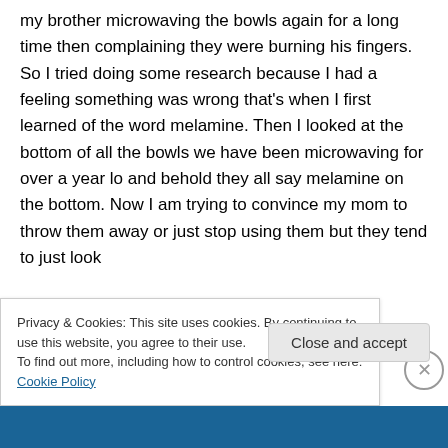my brother microwaving the bowls again for a long time then complaining they were burning his fingers. So I tried doing some research because I had a feeling something was wrong that's when I first learned of the word melamine. Then I looked at the bottom of all the bowls we have been microwaving for over a year lo and behold they all say melamine on the bottom. Now I am trying to convince my mom to throw them away or just stop using them but they tend to just look
Privacy & Cookies: This site uses cookies. By continuing to use this website, you agree to their use.
To find out more, including how to control cookies, see here: Cookie Policy